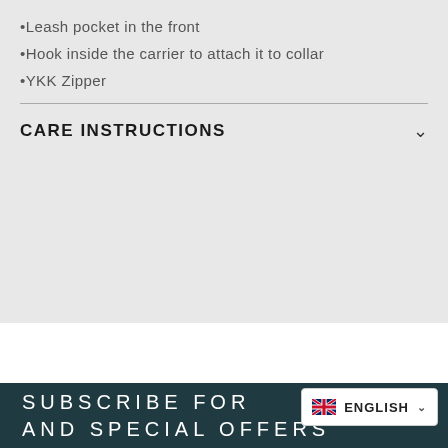Leash pocket in the front
Hook inside the carrier to attach it to collar
YKK Zipper
CARE INSTRUCTIONS
SUBSCRIBE FOR AND SPECIAL OFFERS